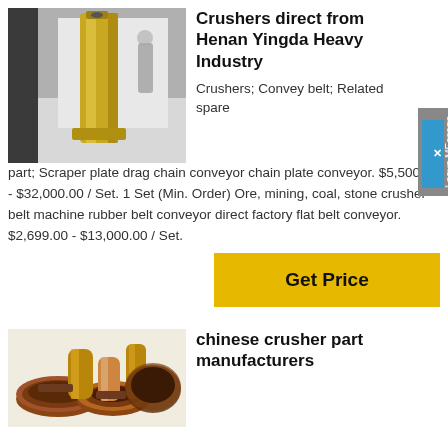[Figure (photo): Photo of a large cylindrical gold/brass colored crusher part standing upright on a light surface in an industrial setting]
Crushers direct from Henan Yingda Heavy Industry
Crushers; Convey belt; Related spare part; Scraper plate drag chain conveyor chain plate conveyor. $5,500.00 - $32,000.00 / Set. 1 Set (Min. Order) Ore, mining, coal, stone crusher belt machine rubber belt conveyor direct factory flat belt conveyor. $2,699.00 - $13,000.00 / Set.
[Figure (other): Leave MEssage sidebar tab with close X button]
[Figure (photo): Photo of multiple bronze/copper colored circular crusher parts (bushings/flanges) arranged together]
chinese crusher part manufacturers